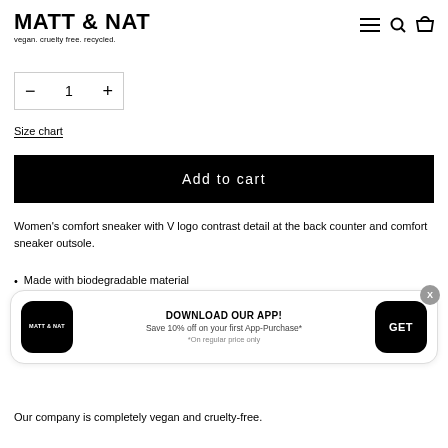MATT & NAT
vegan. cruelty free. recycled.
[Figure (screenshot): Quantity selector with minus button, value 1, and plus button inside a bordered box]
Size chart
Add to cart
Women's comfort sneaker with V logo contrast detail at the back counter and comfort sneaker outsole.
Made with biodegradable material
[Figure (infographic): App download banner with Matt & Nat app icon, text: DOWNLOAD OUR APP! Save 10% off on your first App-Purchase* *On regular price only, and a GET button]
Our company is completely vegan and cruelty-free.